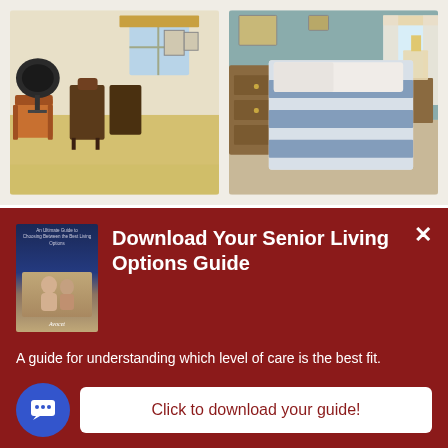[Figure (photo): Interior of a hair salon with styling chairs, salon equipment, mirrors, and warm wood-toned furniture on a light floor]
[Figure (photo): A senior living bedroom with a floral bedspread in blue and white, wooden dresser, lamp, and a window with curtains]
[Figure (illustration): A red promotional banner overlay with a book cover image of the Senior Living Options Guide showing an older couple]
Download Your Senior Living Options Guide
A guide for understanding which level of care is the best fit.
Click to download your guide!